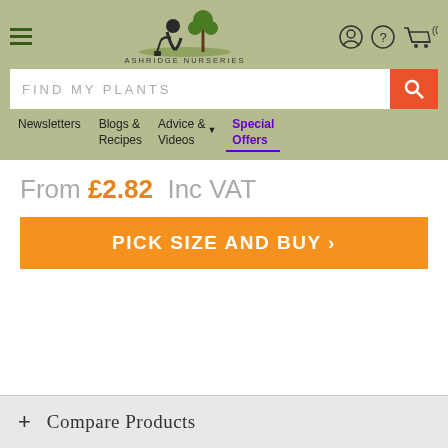[Figure (logo): Ashridge Nurseries logo with gardener silhouette and tree]
FIND MY PLANTS
Newsletters | Blogs & Recipes | Advice & Videos | Special Offers
From £2.82  Inc VAT
PICK SIZE AND BUY ›
+ Compare Products
Why buy from us?
Trusted by over 100,000 gardeners.